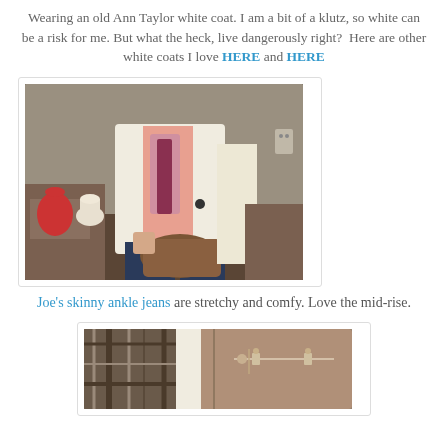Wearing an old Ann Taylor white coat. I am a bit of a klutz, so white can be a risk for me. But what the heck, live dangerously right?  Here are other white coats I love HERE and HERE
[Figure (photo): Person wearing a white coat over a pink top with a pink/maroon scarf, dark skinny jeans, holding a brown leather handbag. Interior background with wooden furniture.]
Joe's skinny ankle jeans are stretchy and comfy. Love the mid-rise.
[Figure (photo): Close-up of a brown leather handbag being carried, with plaid/checkered clothing visible in the background.]